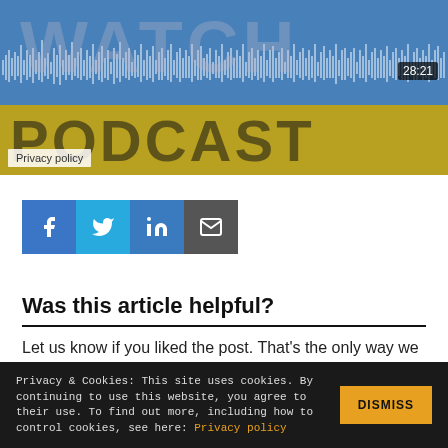[Figure (screenshot): Podcast player screenshot showing waveform audio visualization, timestamp 28:21, with 'PODCAST' text on gold/blue background. Privacy policy badge visible bottom left.]
[Figure (other): Social share buttons: Facebook (blue), Twitter (light blue), LinkedIn (blue), Email (dark gray)]
Was this article helpful?
Let us know if you liked the post. That’s the only way we can improve.
[Figure (other): YES and NO buttons for article feedback]
Related Articles
Privacy & Cookies: This site uses cookies. By continuing to use this website, you agree to their use. To find out more, including how to control cookies, see here: Privacy policy